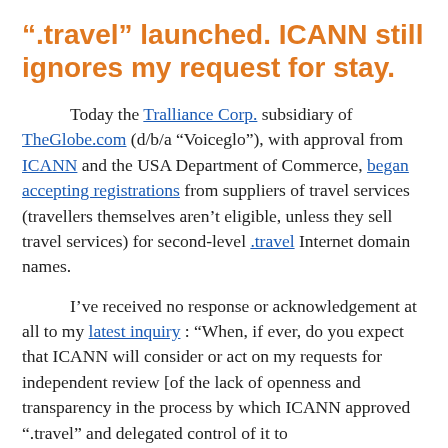".travel" launched. ICANN still ignores my request for stay.
Today the Tralliance Corp. subsidiary of TheGlobe.com (d/b/a “Voiceglo”), with approval from ICANN and the USA Department of Commerce, began accepting registrations from suppliers of travel services (travellers themselves aren’t eligible, unless they sell travel services) for second-level .travel Internet domain names.
I’ve received no response or acknowledgement at all to my latest inquiry : “When, if ever, do you expect that ICANN will consider or act on my requests for independent review [of the lack of openness and transparency in the process by which ICANN approved “.travel” and delegated control of it to Tralliance/TheGlobe.com], and stay pending independent review”.
ICANN bylaws require ICANN to indemnify its officers and Board of Directors, but only to the extent that they are ...